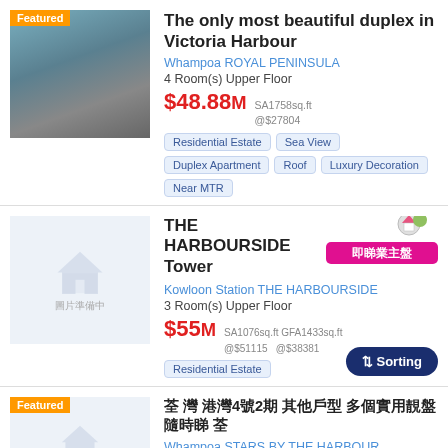[Figure (photo): Property photo of Victoria Harbour duplex with Featured badge]
The only most beautiful duplex in Victoria Harbour
Whampoa ROYAL PENINSULA
4 Room(s) Upper Floor
$48.88M SA1758sq.ft @$27804
Residential Estate
Sea View
Duplex Apartment
Roof
Luxury Decoration
Near MTR
[Figure (photo): Placeholder image for THE HARBOURSIDE Tower listing, 圖片準備中]
THE HARBOURSIDE Tower
Kowloon Station THE HARBOURSIDE
3 Room(s) Upper Floor
$55M SA1076sq.ft GFA1433sq.ft @$51115 @$38381
Residential Estate
[Figure (logo): 即睇業主盤 watermark/logo sticker]
↑↓ Sorting
[Figure (photo): Featured placeholder image for third listing]
荃 灣 港灣4號2期 其他戶型 多個實用靚盤 隨時睇 荃
Whampoa STARS BY THE HARBOUR